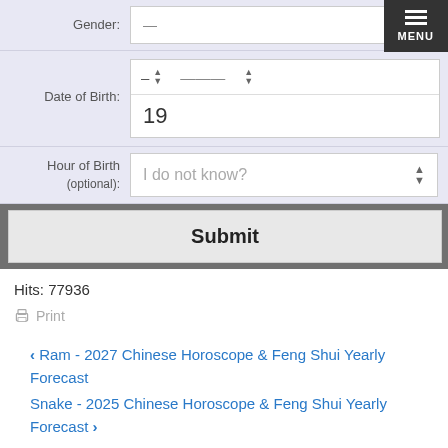[Figure (screenshot): Web form with fields for Gender, Date of Birth, Hour of Birth (optional), and a Submit button. Includes a hamburger menu button in the top right corner.]
Hits: 77936
Print
< Ram - 2027 Chinese Horoscope & Feng Shui Yearly Forecast
Snake - 2025 Chinese Horoscope & Feng Shui Yearly Forecast >